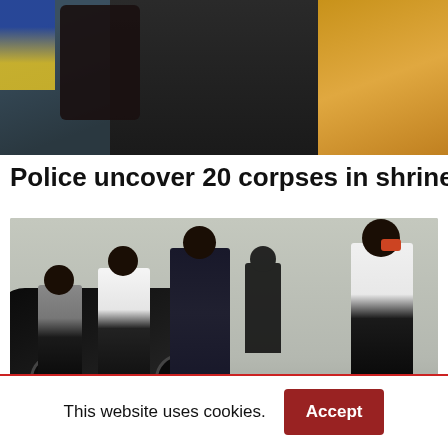[Figure (photo): Cropped photo showing people standing, with a dark shirt figure in center and orange/yellow patterned clothing visible on the right]
Police uncover 20 corpses in shrine in Edo
[Figure (photo): Photo showing several people standing in front of a weathered wall. A police officer in dark uniform stands near a black car. Other individuals in white shirts and dark pants are visible.]
This website uses cookies.